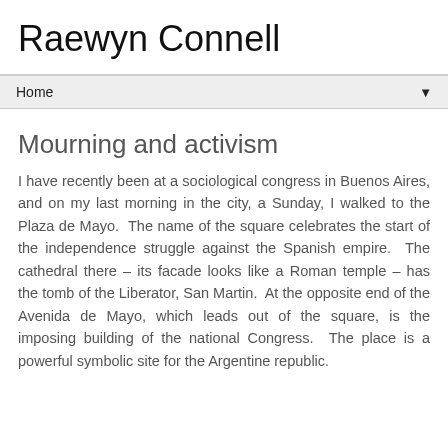Raewyn Connell
Home
Mourning and activism
I have recently been at a sociological congress in Buenos Aires, and on my last morning in the city, a Sunday, I walked to the Plaza de Mayo.  The name of the square celebrates the start of the independence struggle against the Spanish empire.  The cathedral there – its facade looks like a Roman temple – has the tomb of the Liberator, San Martin.  At the opposite end of the Avenida de Mayo, which leads out of the square, is the imposing building of the national Congress.  The place is a powerful symbolic site for the Argentine republic.